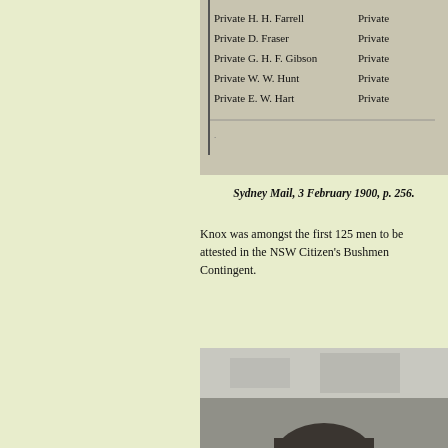[Figure (photo): Scanned newspaper clipping showing a list of Private soldiers including names: Private H. H. Farrell, Private D. Fraser, Private G. H. F. Gibson, Private W. W. Hunt, Private E. W. Hart, with 'Private' repeated on the right column.]
Sydney Mail, 3 February 1900, p. 256.
Knox was amongst the first 125 men to be attested in the NSW Citizen's Bushmen Contingent.
[Figure (photo): Blurry historical photograph, mostly grey tones, showing a partial view of a person's head and upper body at the bottom of the image.]